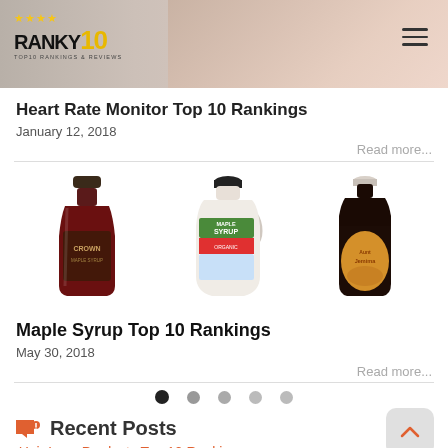RANKY10 - TOP10 RANKINGS & REVIEWS
Heart Rate Monitor Top 10 Rankings
January 12, 2018
Read more...
[Figure (photo): Three maple syrup bottles/containers: a dark glass bottle labeled Crown, a white ceramic jug labeled Maple Syrup, and a dark glass squeeze bottle labeled Aunt Jemima]
Maple Syrup Top 10 Rankings
May 30, 2018
Read more...
Recent Posts
Hair Loss Products Top 10 Rankings